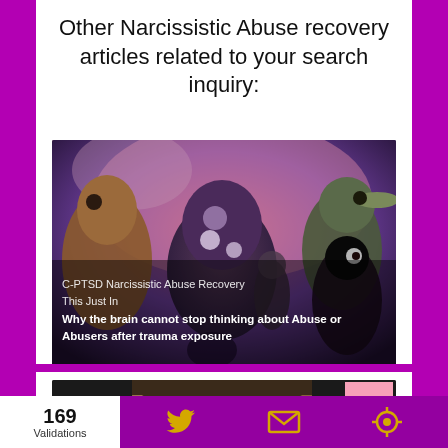Other Narcissistic Abuse recovery articles related to your search inquiry:
[Figure (illustration): Illustrated scene with dark fantasy creatures including a bird-like figure, ghost-like blob creatures, and shadowy figures. Text overlay reads: C-PTSD Narcissistic Abuse Recovery / This Just In / Why the brain cannot stop thinking about Abuse or Abusers after trauma exposure]
[Figure (photo): Photo of a person covering their face with their hand, appearing distressed. A pink scroll-up button is visible in the top right corner.]
169 Validations